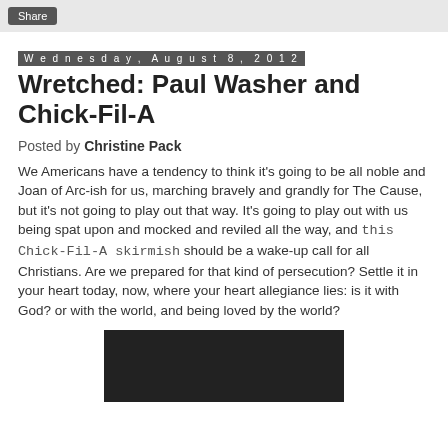Share
Wednesday, August 8, 2012
Wretched: Paul Washer and Chick-Fil-A
Posted by Christine Pack
We Americans have a tendency to think it's going to be all noble and Joan of Arc-ish for us, marching bravely and grandly for The Cause, but it's not going to play out that way. It's going to play out with us being spat upon and mocked and reviled all the way, and this Chick-Fil-A skirmish should be a wake-up call for all Christians. Are we prepared for that kind of persecution? Settle it in your heart today, now, where your heart allegiance lies: is it with God? or with the world, and being loved by the world?
[Figure (photo): Dark/black video thumbnail image]